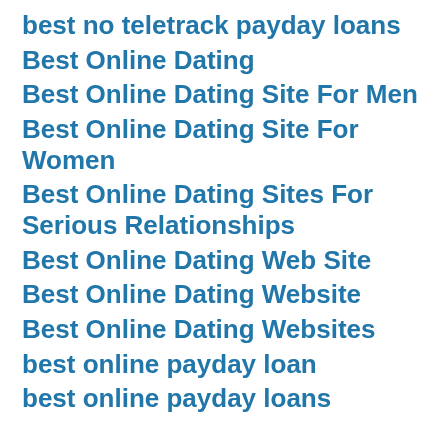best no teletrack payday loans
Best Online Dating
Best Online Dating Site For Men
Best Online Dating Site For Women
Best Online Dating Sites For Serious Relationships
Best Online Dating Web Site
Best Online Dating Website
Best Online Dating Websites
best online payday loan
best online payday loans